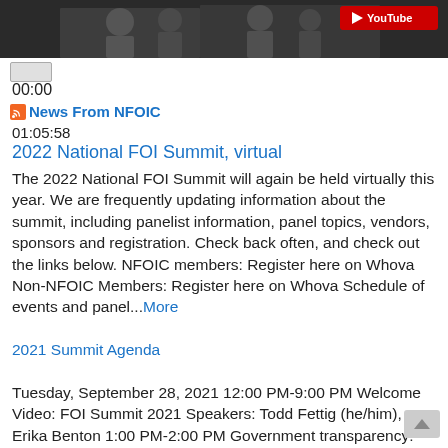[Figure (screenshot): Video thumbnail showing people in a room, with YouTube badge in the top right corner]
00:00
News From NFOIC
01:05:58
2022 National FOI Summit, virtual
The 2022 National FOI Summit will again be held virtually this year. We are frequently updating information about the summit, including panelist information, panel topics, vendors, sponsors and registration. Check back often, and check out the links below. NFOIC members: Register here on Whova Non-NFOIC Members: Register here on Whova Schedule of events and panel...More
2021 Summit Agenda
Tuesday, September 28, 2021 12:00 PM-9:00 PM Welcome Video: FOI Summit 2021 Speakers: Todd Fettig (he/him), Erika Benton 1:00 PM-2:00 PM Government transparency: Lessons from the pandemic Speakers: Tom Verdin, Gunita Singh, David Snyder, Tonu Basu Join experts in public records reporting and government transparency